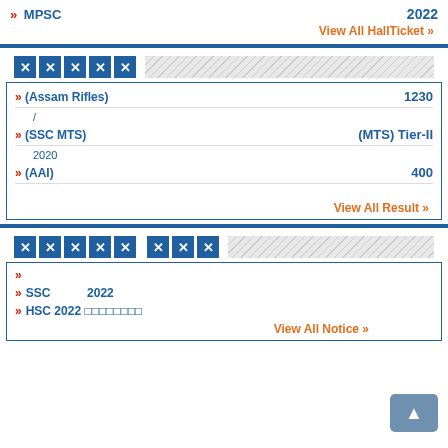» MPSC   2022
View All HallTicket »
XXXXX
» (Assam Rifles)   1230
» (SSC MTS)   (MTS) Tier-II   2020
» (AAI)   400
View All Result »
XXXXX XXX
»
» SSC   2022
» HSC 2022 □□□□□□□□
View All Notice »